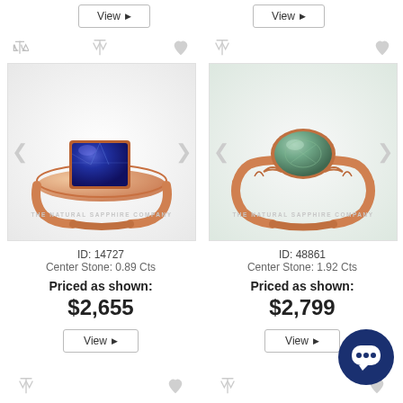[Figure (screenshot): E-commerce product listing showing two sapphire rings side by side with View buttons, icons, product IDs, prices, and a chat widget]
ID: 14727
Center Stone: 0.89 Cts
Priced as shown:
$2,655
ID: 48861
Center Stone: 1.92 Cts
Priced as shown:
$2,799